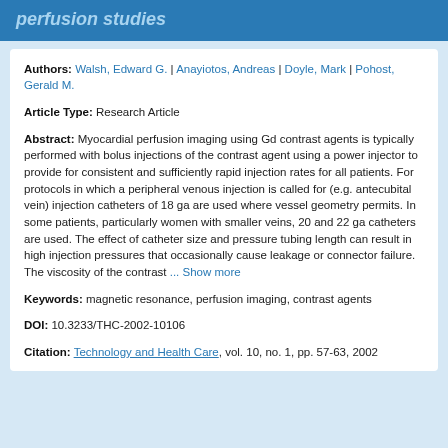perfusion studies
Authors: Walsh, Edward G. | Anayiotos, Andreas | Doyle, Mark | Pohost, Gerald M.
Article Type: Research Article
Abstract: Myocardial perfusion imaging using Gd contrast agents is typically performed with bolus injections of the contrast agent using a power injector to provide for consistent and sufficiently rapid injection rates for all patients. For protocols in which a peripheral venous injection is called for (e.g. antecubital vein) injection catheters of 18 ga are used where vessel geometry permits. In some patients, particularly women with smaller veins, 20 and 22 ga catheters are used. The effect of catheter size and pressure tubing length can result in high injection pressures that occasionally cause leakage or connector failure. The viscosity of the contrast ... Show more
Keywords: magnetic resonance, perfusion imaging, contrast agents
DOI: 10.3233/THC-2002-10106
Citation: Technology and Health Care, vol. 10, no. 1, pp. 57-63, 2002